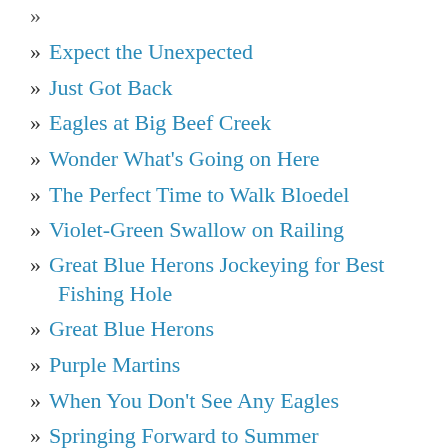Expect the Unexpected
Just Got Back
Eagles at Big Beef Creek
Wonder What's Going on Here
The Perfect Time to Walk Bloedel
Violet-Green Swallow on Railing
Great Blue Herons Jockeying for Best Fishing Hole
Great Blue Herons
Purple Martins
When You Don't See Any Eagles
Springing Forward to Summer
(Un)Common Yellowthroat
A Few More Shots
Last, But Not Least
Bottle Beach Flyby